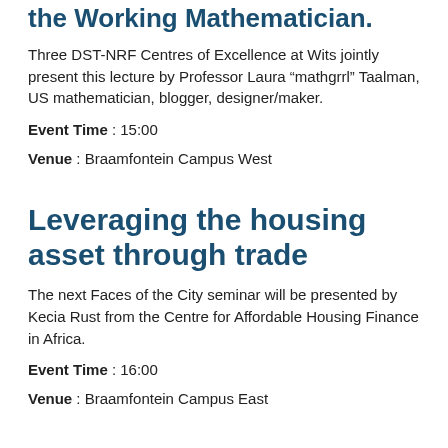the Working Mathematician.
Three DST-NRF Centres of Excellence at Wits jointly present this lecture by Professor Laura “mathgrrl” Taalman, US mathematician, blogger, designer/maker.
Event Time : 15:00
Venue : Braamfontein Campus West
Leveraging the housing asset through trade
The next Faces of the City seminar will be presented by Kecia Rust from the Centre for Affordable Housing Finance in Africa.
Event Time : 16:00
Venue : Braamfontein Campus East